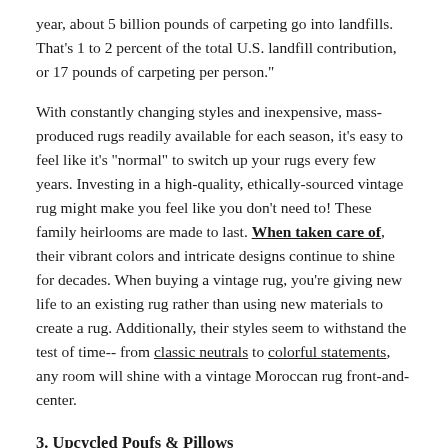year, about 5 billion pounds of carpeting go into landfills. That's 1 to 2 percent of the total U.S. landfill contribution, or 17 pounds of carpeting per person."
With constantly changing styles and inexpensive, mass-produced rugs readily available for each season, it's easy to feel like it's "normal" to switch up your rugs every few years. Investing in a high-quality, ethically-sourced vintage rug might make you feel like you don't need to! These family heirlooms are made to last. When taken care of, their vibrant colors and intricate designs continue to shine for decades. When buying a vintage rug, you're giving new life to an existing rug rather than using new materials to create a rug. Additionally, their styles seem to withstand the test of time-- from classic neutrals to colorful statements, any room will shine with a vintage Moroccan rug front-and-center.
3. Upcycled Poufs & Pillows